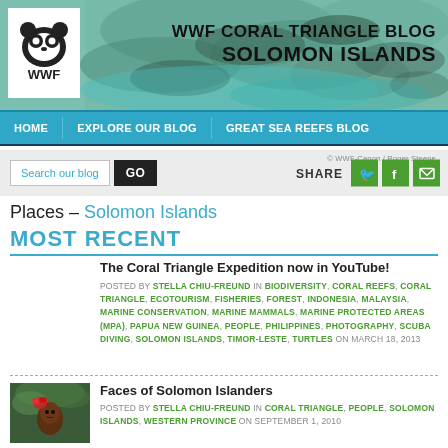[Figure (screenshot): WWF Coral Triangle Blog Solomon Islands website screenshot with header banner, navigation, search bar, and blog post listings]
WWF CORAL TRIANGLE BLOG
SOLOMON ISLANDS
Places – Solomon Islands
MOST RECENT
The Coral Triangle Expedition now in YouTube!
POSTED BY STELLA CHIU-FREUND IN BIODIVERSITY, CORAL REEFS, CORAL TRIANGLE, ECOTOURISM, FISHERIES, FOREST, INDONESIA, MALAYSIA, MARINE CONSERVATION, MARINE MAMMALS, MARINE PROTECTED AREAS (MPA), PAPUA NEW GUINEA, PEOPLE, PHILIPPINES, PHOTOGRAPHY, SCUBA DIVING, SOLOMON ISLANDS, TIMOR-LESTE, TURTLES ON MARCH 18, 2013
Faces of Solomon Islanders
POSTED BY STELLA CHIU-FREUND IN CORAL TRIANGLE, PEOPLE, SOLOMON ISLANDS, WESTERN PROVINCE ON SEPTEMBER 1, 2010